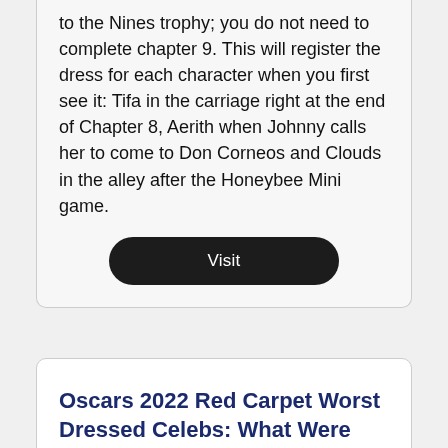to the Nines trophy; you do not need to complete chapter 9. This will register the dress for each character when you first see it: Tifa in the carriage right at the end of Chapter 8, Aerith when Johnny calls her to come to Don Corneos and Clouds in the alley after the Honeybee Mini game.
Visit
Oscars 2022 Red Carpet Worst Dressed Celebs: What Were Billie ...
Mar 27, 2022 · Aisde from eagerly